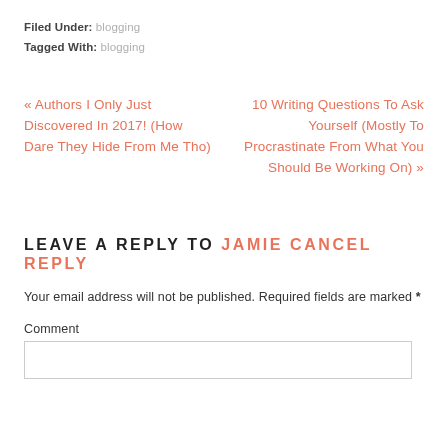Filed Under: blogging
Tagged With: blogging
« Authors I Only Just Discovered In 2017! (How Dare They Hide From Me Tho)
10 Writing Questions To Ask Yourself (Mostly To Procrastinate From What You Should Be Working On) »
LEAVE A REPLY TO JAMIE CANCEL REPLY
Your email address will not be published. Required fields are marked *
Comment